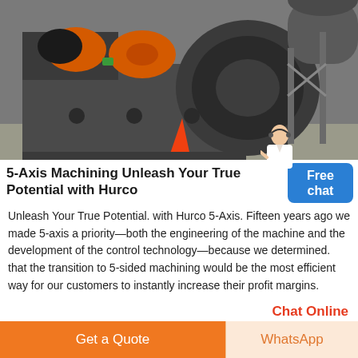[Figure (photo): Industrial CNC milling or centrifugal fan/blower machinery in a factory setting. Large dark grey metal machines with orange motor components visible. Orange traffic cone in foreground, industrial scaffolding and ductwork in background.]
5-Axis Machining Unleash Your True Potential with Hurco
Unleash Your True Potential. with Hurco 5-Axis. Fifteen years ago we made 5-axis a priority—both the engineering of the machine and the development of the control technology—because we determined. that the transition to 5-sided machining would be the most efficient way for our customers to instantly increase their profit margins.
Chat Online
[Figure (photo): Partial view of industrial machinery, bottom strip.]